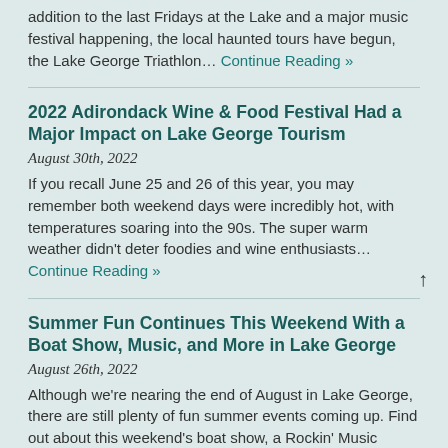addition to the last Fridays at the Lake and a major music festival happening, the local haunted tours have begun, the Lake George Triathlon… Continue Reading »
2022 Adirondack Wine & Food Festival Had a Major Impact on Lake George Tourism
August 30th, 2022
If you recall June 25 and 26 of this year, you may remember both weekend days were incredibly hot, with temperatures soaring into the 90s. The super warm weather didn't deter foodies and wine enthusiasts… Continue Reading »
Summer Fun Continues This Weekend With a Boat Show, Music, and More in Lake George
August 26th, 2022
Although we're nearing the end of August in Lake George, there are still plenty of fun summer events coming up. Find out about this weekend's boat show, a Rockin' Music Cruise, and other things to… Continue Reading »
Bring the Whole Family Out for Fun Around Lake George This Weekend